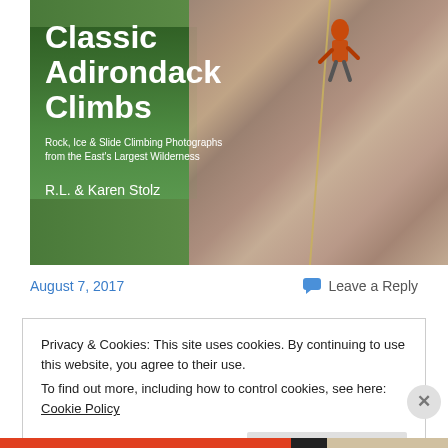[Figure (photo): Book cover for 'Classic Adirondack Climbs' showing a rock climber on a granite face with trees visible. Cover text reads: Classic Adirondack Climbs, Rock, Ice & Slide Climbing Photographs from the East's Largest Wilderness, R.L. & Karen Stolz]
August 7, 2017
Leave a Reply
Privacy & Cookies: This site uses cookies. By continuing to use this website, you agree to their use.
To find out more, including how to control cookies, see here: Cookie Policy
Close and accept